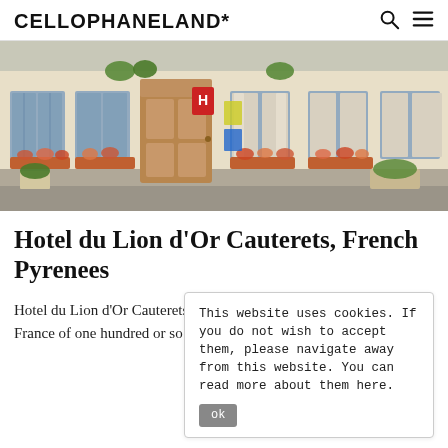CELLOPHANELAND*
[Figure (photo): Exterior photo of Hotel du Lion d'Or Cauterets showing the building facade with blue shutters, flower boxes, hanging plants, and an ornate wooden entrance door. The building is on a street in a French town.]
Hotel du Lion d'Or Cauterets, French Pyrenees
Hotel du Lion d'Or Cauterets lis in a particularly historic town. In the France of one hundred or so years...
This website uses cookies. If you do not wish to accept them, please navigate away from this website. You can read more about them here.
ok